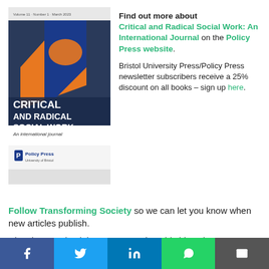[Figure (photo): Book cover of Critical and Radical Social Work: An International Journal, published by Policy Press. Features colorful abstract graphic design with text overlay.]
Find out more about Critical and Radical Social Work: An International Journal on the Policy Press website.
Bristol University Press/Policy Press newsletter subscribers receive a 25% discount on all books – sign up here.
Follow Transforming Society so we can let you know when new articles publish.
The views and opinions expressed on this blog site
f  [Twitter bird]  in  [WhatsApp]  [Mail]